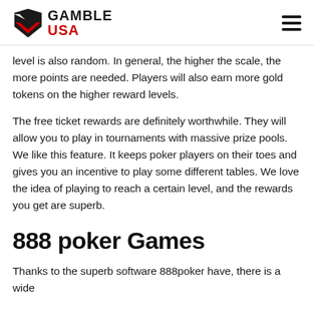GAMBLE USA
level is also random. In general, the higher the scale, the more points are needed. Players will also earn more gold tokens on the higher reward levels.
The free ticket rewards are definitely worthwhile. They will allow you to play in tournaments with massive prize pools. We like this feature. It keeps poker players on their toes and gives you an incentive to play some different tables. We love the idea of playing to reach a certain level, and the rewards you get are superb.
888 poker Games
Thanks to the superb software 888poker have, there is a wide